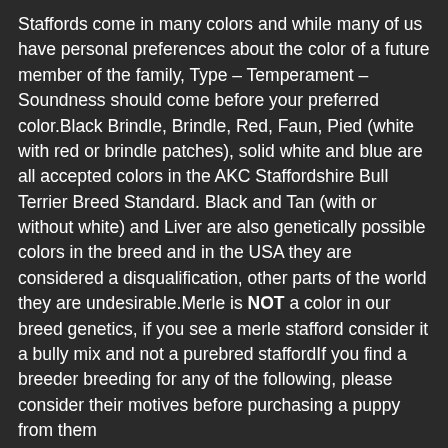Staffords come in many colors and while many of us have personal preferences about the color of a future member of the family, Type – Temperament – Soundness should come before your preferred color.Black Brindle, Brindle, Red, Faun, Pied (white with red or brindle patches), solid white and blue are all accepted colors in the AKC Staffordshire Bull Terrier Breed Standard. Black and Tan (with or without white) and Liver are also genetically possible colors in the breed and in the USA they are considered a disqualification, other parts of the world they are undesirable.Merle is NOT a color in our breed genetics, if you see a merle stafford consider it a bully mix and not a purebred staffordIf you find a breeder breeding for any of the following, please consider their motives before purchasing a puppy from them
Breeding specifically for blue (dilute of black) and only blue or a non standard color